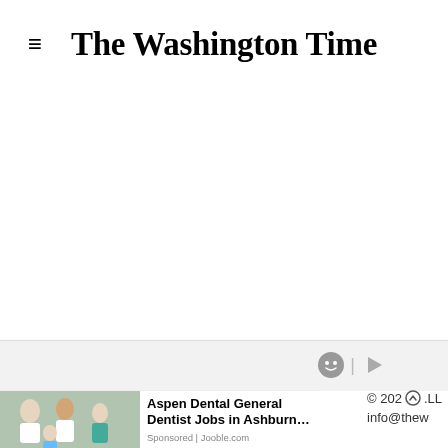The Washington Time
[Figure (other): Large blank white area (advertisement placeholder)]
[Figure (other): Ad controls: smiley face icon and play icon]
[Figure (other): Advertisement banner: Aspen Dental General Dentist Jobs in Ashburn... Sponsored | Jooble.com, with photo of dental professionals]
© 202... .LL info@thew